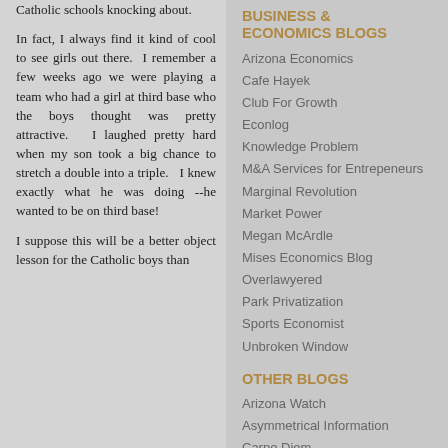Catholic schools knocking about.
In fact, I always find it kind of cool to see girls out there. I remember a few weeks ago we were playing a team who had a girl at third base who the boys thought was pretty attractive. I laughed pretty hard when my son took a big chance to stretch a double into a triple. I knew exactly what he was doing --he wanted to be on third base!
I suppose this will be a better object lesson for the Catholic boys than
BUSINESS & ECONOMICS BLOGS
Arizona Economics
Cafe Hayek
Club For Growth
Econlog
Knowledge Problem
M&A Services for Entrepeneurs
Marginal Revolution
Market Power
Megan McArdle
Mises Economics Blog
Overlawyered
Park Privatization
Sports Economist
Unbroken Window
OTHER BLOGS
Arizona Watch
Asymmetrical Information
Carpe Diem